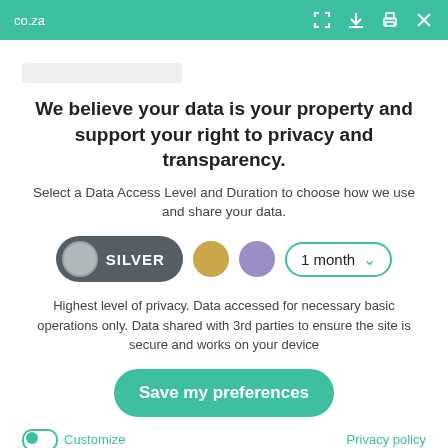co.za
Latest News
We believe your data is your property and support your right to privacy and transparency.
Select a Data Access Level and Duration to choose how we use and share your data.
[Figure (other): Privacy level selector showing Silver pill toggle, gold circle, purple circle, and 1 month dropdown]
Highest level of privacy. Data accessed for necessary basic operations only. Data shared with 3rd parties to ensure the site is secure and works on your device
Save my preferences
Customize
Privacy policy